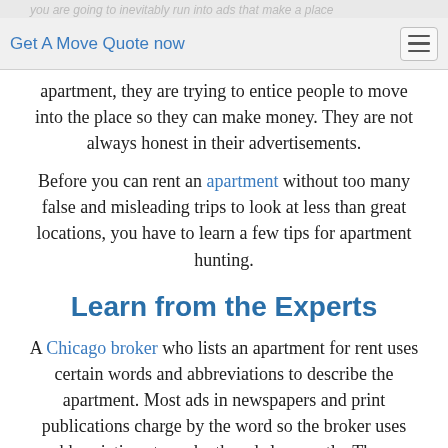Get A Move Quote now
apartment, they are trying to entice people to move into the place so they can make money. They are not always honest in their advertisements.
Before you can rent an apartment without too many false and misleading trips to look at less than great locations, you have to learn a few tips for apartment hunting.
Learn from the Experts
A Chicago broker who lists an apartment for rent uses certain words and abbreviations to describe the apartment. Most ads in newspapers and print publications charge by the word so the broker uses abbreviations to make the ads less costly. Those abbreviations can often be confusing.
Take the time to learn what the common abbreviations are before you begin the search. Then you'll know when you